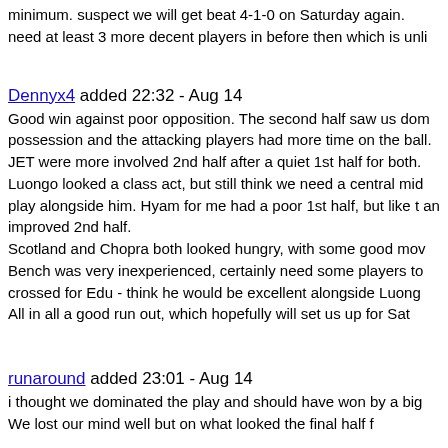minimum. suspect we will get beat 4-1-0 on Saturday again. need at least 3 more decent players in before then which is unli
Dennyx4 added 22:32 - Aug 14
Good win against poor opposition. The second half saw us dom possession and the attacking players had more time on the ball. JET were more involved 2nd half after a quiet 1st half for both. Luongo looked a class act, but still think we need a central mid play alongside him. Hyam for me had a poor 1st half, but like t an improved 2nd half.
Scotland and Chopra both looked hungry, with some good mov Bench was very inexperienced, certainly need some players to crossed for Edu - think he would be excellent alongside Luong All in all a good run out, which hopefully will set us up for Sat
runaround added 23:01 - Aug 14
i thought we dominated the play and should have won by a big We lost our mind well but on what looked the final half f